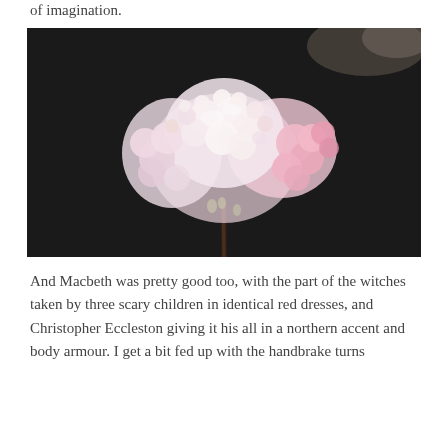of imagination.
[Figure (photo): Close-up photograph of pale pink and white cluster flowers (viburnum or similar) against a very dark/black background, with a dark stem and tiny green buds visible below the flower cluster.]
And Macbeth was pretty good too, with the part of the witches taken by three scary children in identical red dresses, and Christopher Eccleston giving it his all in a northern accent and body armour. I get a bit fed up with the handbrake turns